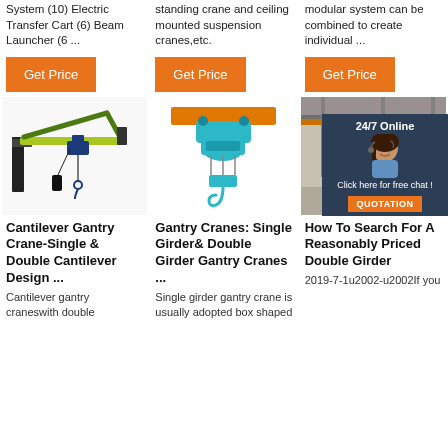System (10) Electric Transfer Cart (6) Beam Launcher (6 ...
standing crane and ceiling mounted suspension cranes,etc.
modular system can be combined to create individual ...
Get Price
Get Price
Get Price
[Figure (photo): Cantilever gantry crane with yellow/green frame and blue hoist on white background]
[Figure (photo): Teal/cyan electric hoist with hook hanging from orange beam]
[Figure (photo): Industrial crane inside warehouse building, with 24/7 Online chat overlay featuring a customer service representative]
Cantilever Gantry Crane-Single & Double Cantilever Design ...
Cantilever gantry craneswith double
Gantry Cranes: Single Girder& Double Girder Gantry Cranes ...
Single girder gantry crane is usually adopted box shaped
How To Search For A Reasonably Priced Double Girder
2019-7-1u2002-u2002If you